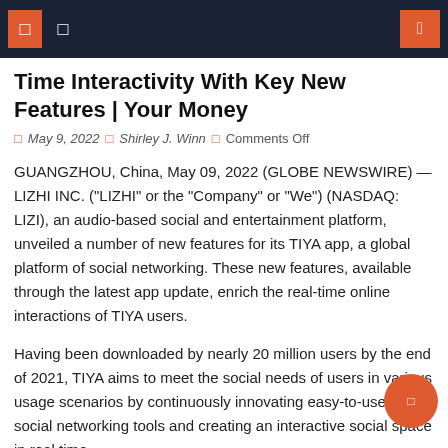Navigation bar with icons
Time Interactivity With Key New Features | Your Money
May 9, 2022  Shirley J. Winn  Comments Off
GUANGZHOU, China, May 09, 2022 (GLOBE NEWSWIRE) — LIZHI INC. (“LIZHI” or the “Company” or “We”) (NASDAQ: LIZI), an audio-based social and entertainment platform, unveiled a number of new features for its TIYA app, a global platform of social networking. These new features, available through the latest app update, enrich the real-time online interactions of TIYA users.
Having been downloaded by nearly 20 million users by the end of 2021, TIYA aims to meet the social needs of users in various usage scenarios by continuously innovating easy-to-use online social networking tools and creating an interactive social space in real time.